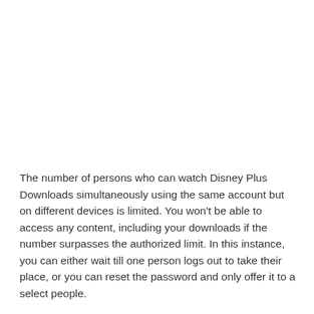The number of persons who can watch Disney Plus Downloads simultaneously using the same account but on different devices is limited. You won't be able to access any content, including your downloads if the number surpasses the authorized limit. In this instance, you can either wait till one person logs out to take their place, or you can reset the password and only offer it to a select people.